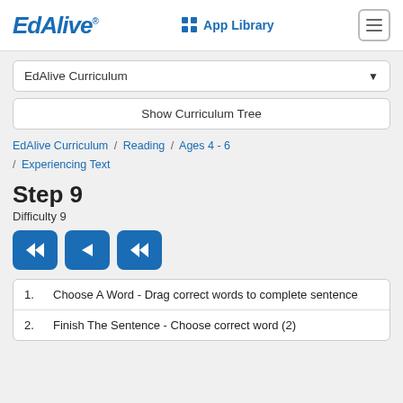EdAlive® App Library
EdAlive Curriculum
Show Curriculum Tree
EdAlive Curriculum / Reading / Ages 4 - 6 / Experiencing Text
Step 9
Difficulty 9
[Figure (other): Three navigation control buttons: rewind, play, fast-forward in blue rounded rectangles]
1. Choose A Word - Drag correct words to complete sentence
2. Finish The Sentence - Choose correct word (2)